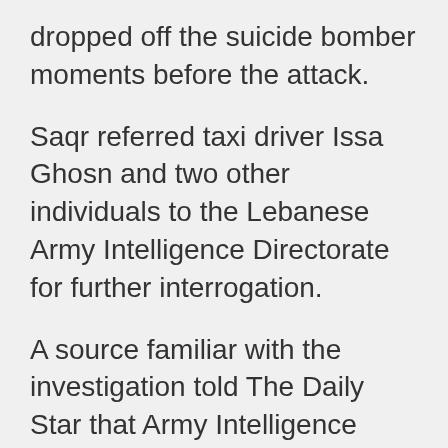dropped off the suicide bomber moments before the attack.
Saqr referred taxi driver Issa Ghosn and two other individuals to the Lebanese Army Intelligence Directorate for further interrogation.
A source familiar with the investigation told The Daily Star that Army Intelligence would be tasked with verifying whether they had a link to or any knowledge of the suicide bomber, whose identity has yet to be revealed. Interrogation will also focus on the suicide bomber’s intended target.
A suicide bomber Monday detonated his